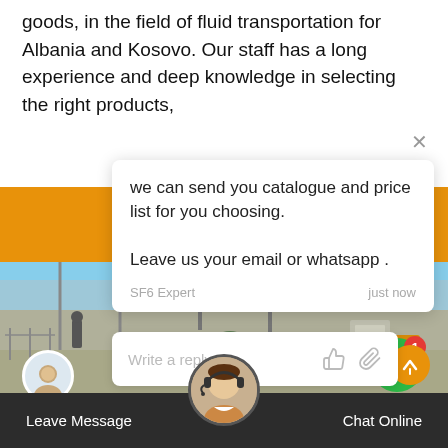goods, in the field of fluid transportation for Albania and Kosovo. Our staff has a long experience and deep knowledge in selecting the right products,
[Figure (screenshot): Website chat popup overlay on an electrical substation background. Shows a chat message from 'SF6 Expert' saying 'we can send you catalogue and price list for you choosing. Leave us your email or whatsapp.' with a 'Write a reply..' input box below. Green chat notification button with badge '1' visible. Bottom bar has 'Leave Message' and 'Chat Online' buttons with a support agent avatar in the center.]